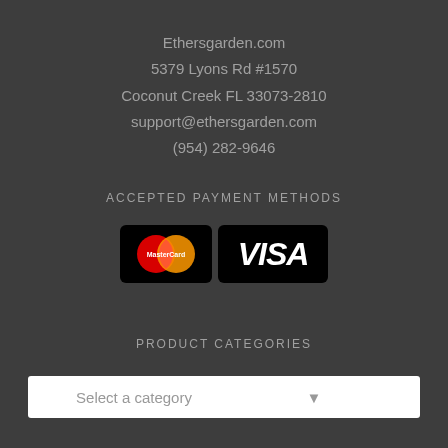Ethersgarden.com
5379 Lyons Rd #1570
Coconut Creek FL 33073-2810
support@ethersgarden.com
(954) 282-9646
ACCEPTED PAYMENT METHODS
[Figure (logo): MasterCard and VISA payment logos on black rounded rectangle backgrounds]
PRODUCT CATEGORIES
Select a category